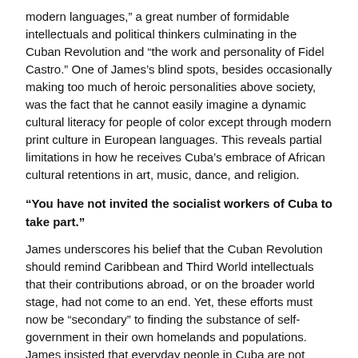modern languages," a great number of formidable intellectuals and political thinkers culminating in the Cuban Revolution and "the work and personality of Fidel Castro." One of James's blind spots, besides occasionally making too much of heroic personalities above society, was the fact that he cannot easily imagine a dynamic cultural literacy for people of color except through modern print culture in European languages. This reveals partial limitations in how he receives Cuba's embrace of African cultural retentions in art, music, dance, and religion.
“You have not invited the socialist workers of Cuba to take part.”
James underscores his belief that the Cuban Revolution should remind Caribbean and Third World intellectuals that their contributions abroad, or on the broader world stage, had not come to an end. Yet, these efforts must now be “secondary” to finding the substance of self-government in their own homelands and populations. James insisted that everyday people in Cuba are not thought of as “intellectuals” who must take a central role in any cultural congress, where they are in fact absent (except perhaps as servants of hospitality), is a grave mistake. The origins of Caribbean and world development, James underlined is not merely the potential of the masses. Rather, the self-organization and political thought of industrial workers and farmers, not merely professional teachers and writers, must be central to a radical analysis of society. This was not an abstract criticism at a cultural